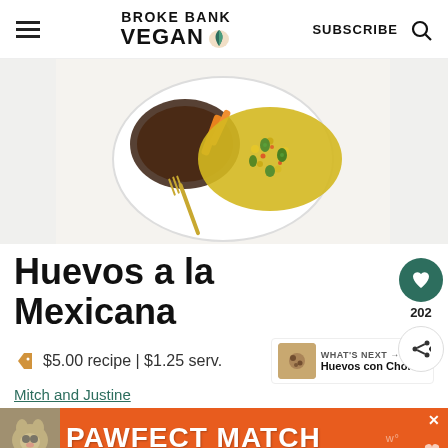BROKE BANK VEGAN
[Figure (photo): Overhead view of a white plate with vegan Huevos a la Mexicana scramble topped with jalapeno slices, corn, red peppers, alongside dark refried beans and carrots, with gold fork]
Huevos a la Mexicana
$5.00 recipe | $1.25 serv.
Mitch and Justine
[Figure (photo): What's Next promo showing Huevos con Chorizo thumbnail]
[Figure (photo): PAWFECT MATCH advertisement banner with cat photo]